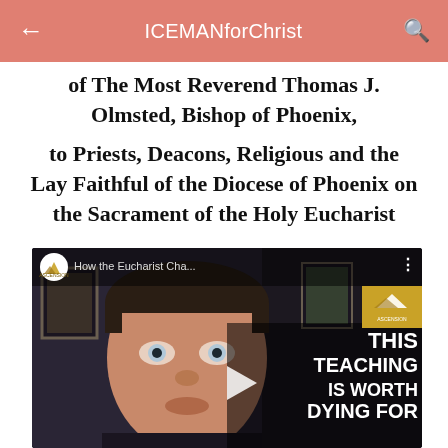ICEMANforChrist
of The Most Reverend Thomas J. Olmsted, Bishop of Phoenix,

to Priests, Deacons, Religious and the Lay Faithful of the Diocese of Phoenix on the Sacrament of the Holy Eucharist
[Figure (screenshot): YouTube video thumbnail showing a man looking at the camera with text overlay 'THIS TEACHING IS WORTH DYING FOR' and channel name 'Ascension' with title 'How the Eucharist Cha...']